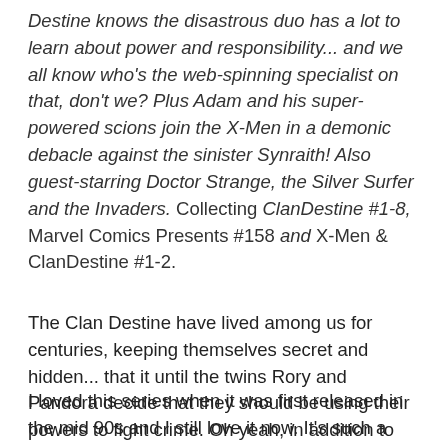Destine knows the disastrous duo has a lot to learn about power and responsibility... and we all know who's the web-spinning specialist on that, don't we? Plus Adam and his super-powered scions join the X-Men in a demonic debacle against the sinister Synraith! Also guest-starring Doctor Strange, the Silver Surfer and the Invaders. Collecting ClanDestine #1-8, Marvel Comics Presents #158 and X-Men & ClanDestine #1-2.
The Clan Destine have lived among us for centuries, keeping themselves secret and hidden... that it until the twins Rory and Pandora decide that they should be using their powers to fight crime. Oh yeah, in addition to being centuries old in some cases, the Clan Destine also have superpowers.
I loved this series when it was first released in the mid 90s and I still love it now. It's such a clever take on the typical superhero book, taking it away from just your average group